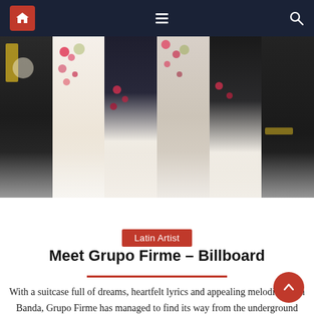Navigation bar with home, menu, and search icons
[Figure (photo): Group photo of Grupo Firme members wearing floral and black jackets, cropped to show torsos]
Latin Artist
Meet Grupo Firme – Billboard
With a suitcase full of dreams, heartfelt lyrics and appealing melodies from Banda, Grupo Firme has managed to find its way from the underground music scene to the Billboard graphics. The young Mexican regional group – made up of Eduin Caz, Abraham Hernandez, Johnny Caz, Joaquin Ruiz,